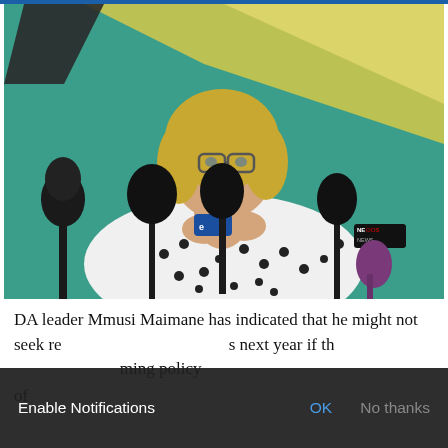[Figure (photo): A blonde woman wearing glasses and a white polka-dot blouse speaks at a press conference in front of multiple microphones. Behind her is a teal/green and yellow background with geometric shapes. Microphone brands including eNCA and News24 visible.]
DA leader Mmusi Maimane has indicated that he might not seek re-election as party leader next year if the ... coming policy of...